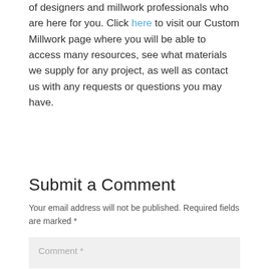of designers and millwork professionals who are here for you. Click here to visit our Custom Millwork page where you will be able to access many resources, see what materials we supply for any project, as well as contact us with any requests or questions you may have.
Submit a Comment
Your email address will not be published. Required fields are marked *
Comment *